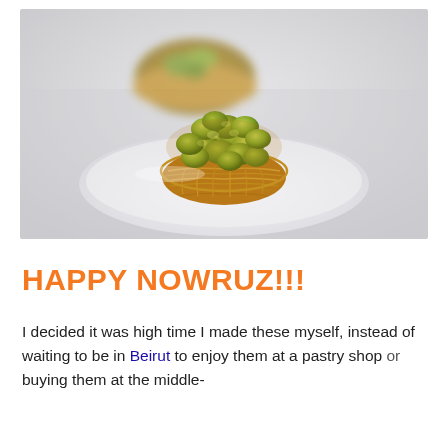[Figure (photo): Close-up photo of a kunafa/kataifi pastry basket filled with pistachios on a white plate, with another pastry blurred in the background.]
HAPPY NOWRUZ!!!
I decided it was high time I made these myself, instead of waiting to be in Beirut to enjoy them at a pastry shop or buying them at the middle-